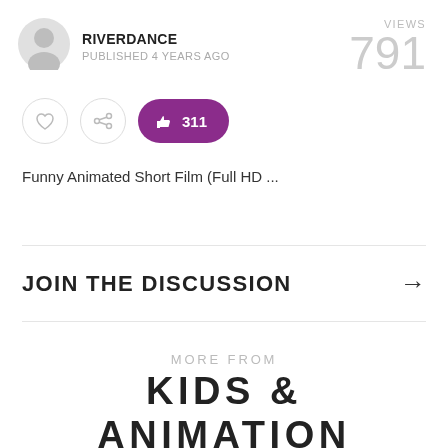[Figure (illustration): User avatar circle placeholder icon (grey silhouette)]
RIVERDANCE
PUBLISHED 4 YEARS AGO
VIEWS 791
[Figure (illustration): Heart icon button (circle outline)]
[Figure (illustration): Share icon button (circle outline)]
[Figure (illustration): Thumbs up like button (purple pill) with count 311]
Funny Animated Short Film (Full HD ...
JOIN THE DISCUSSION →
MORE FROM  KIDS & ANIMATION